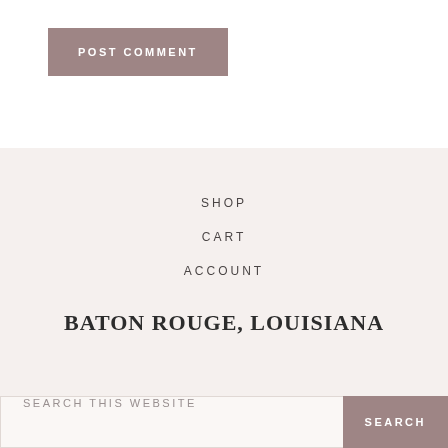POST COMMENT
SHOP
CART
ACCOUNT
BATON ROUGE, LOUISIANA
SEARCH THIS WEBSITE
SEARCH